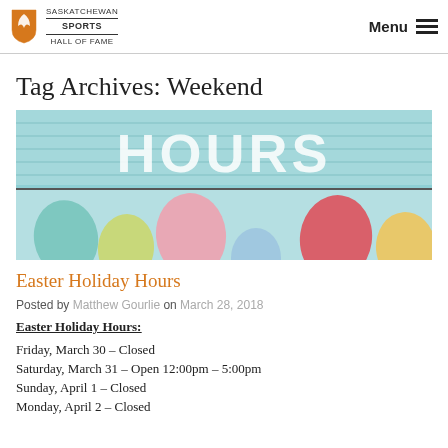Saskatchewan Sports Hall of Fame | Menu
Tag Archives: Weekend
[Figure (photo): Easter holiday hours banner with colorful Easter eggs on a light blue background and large white text reading HOURS]
Easter Holiday Hours
Posted by Matthew Gourlie on March 28, 2018
Easter Holiday Hours:
Friday, March 30 – Closed
Saturday, March 31 – Open 12:00pm – 5:00pm
Sunday, April 1 – Closed
Monday, April 2 – Closed